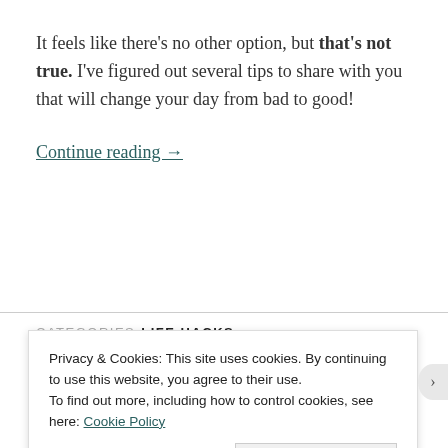It feels like there's no other option, but that's not true. I've figured out several tips to share with you that will change your day from bad to good!
Continue reading →
CATEGORIES  LIFE HACKS
Privacy & Cookies: This site uses cookies. By continuing to use this website, you agree to their use. To find out more, including how to control cookies, see here: Cookie Policy
Close and accept